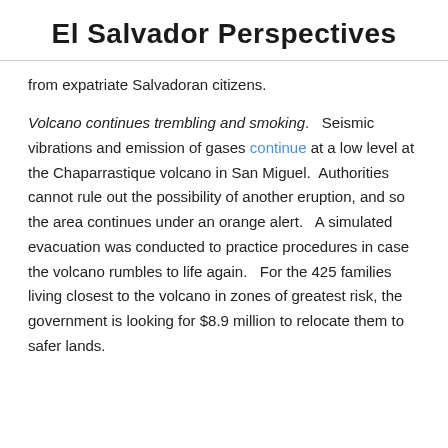El Salvador Perspectives
from expatriate Salvadoran citizens.
Volcano continues trembling and smoking.   Seismic vibrations and emission of gases continue at a low level at the Chaparrastique volcano in San Miguel.  Authorities cannot rule out the possibility of another eruption, and so the area continues under an orange alert.   A simulated evacuation was conducted to practice procedures in case the volcano rumbles to life again.   For the 425 families living closest to the volcano in zones of greatest risk, the government is looking for $8.9 million to relocate them to safer lands.